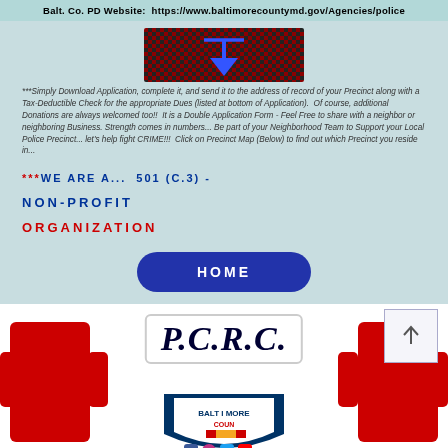Balt. Co. PD Website:  https://www.baltimorecountymd.gov/Agencies/police
[Figure (other): Download icon — decorative pixel/mosaic bar graphic with blue downward arrow in center]
***Simply Download Application, complete it, and send it to the address of record of your Precinct along with a Tax-Deductible Check for the appropriate Dues (listed at bottom of Application).  Of course, additional Donations are always welcomed too!!  It is a Double Application Form - Feel Free to share with a neighbor or neighboring Business. Strength comes in numbers... Be part of your Neighborhood Team to Support your Local Police Precinct... let's help fight CRIME!!!  Click on Precinct Map (Below) to find out which Precinct you reside in...
***WE ARE A...  501 (C.3) - NON-PROFIT ORGANIZATION
HOME
[Figure (logo): P.C.R.C. logo — sign with P.C.R.C. text held by figures in red, with Baltimore County emblem below and social media icons]